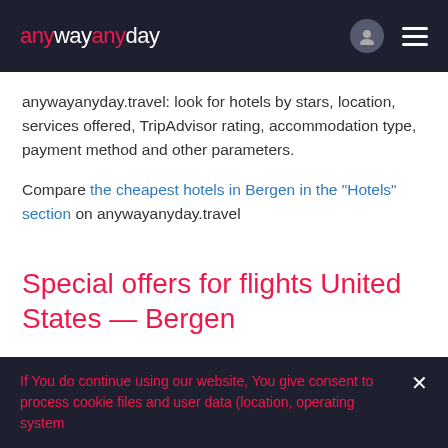anywayanyday
anywayanyday.travel: look for hotels by stars, location, services offered, TripAdvisor rating, accommodation type, payment method and other parameters.
Compare the cheapest hotels in Bergen in the "Hotels" section on anywayanyday.travel
Special offers for flights United States — Bergen
Many air lines have regular air ticket sales for United States — Bergen. Follow such special offers in our social networks. Besides, we often inform you about exclusive air fare for flights from United States to Bergen.
If You do continue using our website, You give consent to process cookie files and user data (location, operating system